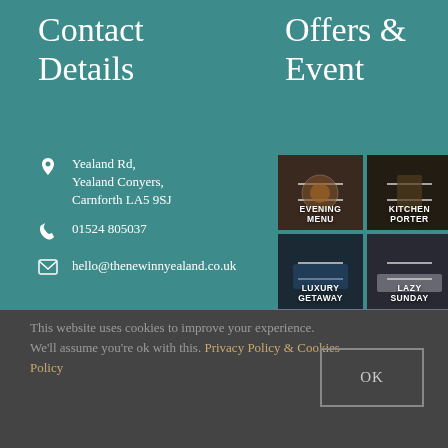Contact Details
Offers & Event
Yealand Rd, Yealand Conyers, Carnforth LA5 9SJ
01524 805037
hello@thenewinnyealand.co.uk
[Figure (photo): 2x2 grid of promotional images: Evening Menu, Kitchen Porter, Luxury Getaway, Lazy Sunday]
This website uses cookies to improve your experience. We'll assume you're ok with this. Privacy Policy & Cookies Policy